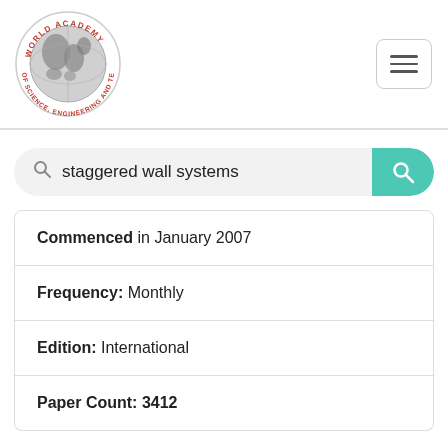[Figure (logo): World Academy of Science, Engineering and Technology circular logo with globe illustration]
staggered wall systems
Commenced in January 2007
Frequency: Monthly
Edition: International
Paper Count: 3412